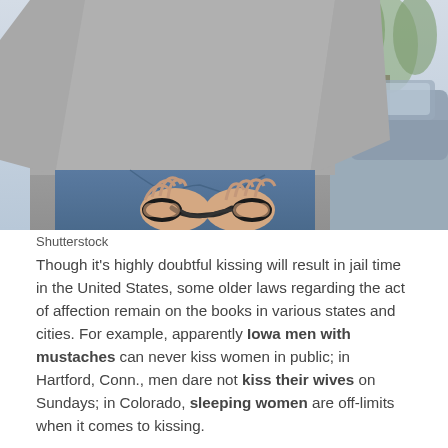[Figure (photo): Person viewed from behind with hands handcuffed behind their back, wearing a gray long-sleeve shirt and blue jeans, standing near a car on a road with trees in the background.]
Shutterstock
Though it's highly doubtful kissing will result in jail time in the United States, some older laws regarding the act of affection remain on the books in various states and cities. For example, apparently Iowa men with mustaches can never kiss women in public; in Hartford, Conn., men dare not kiss their wives on Sundays; in Colorado, sleeping women are off-limits when it comes to kissing.